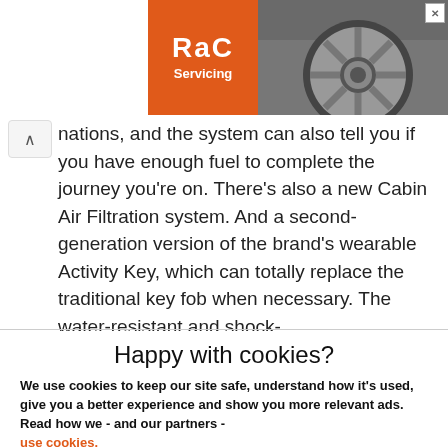[Figure (logo): RAC Servicing advertisement banner with orange RAC logo on left and car wheel image on right, with a close button (X) in the top-right corner]
nations, and the system can also tell you if you have enough fuel to complete the journey you're on. There's also a new Cabin Air Filtration system. And a second-generation version of the brand's wearable Activity Key, which can totally replace the traditional key fob when necessary. The water-resistant and shock-
Happy with cookies?
We use cookies to keep our site safe, understand how it's used, give you a better experience and show you more relevant ads. Read how we - and our partners - use cookies.
Yes, that's fine
No, manage cookies